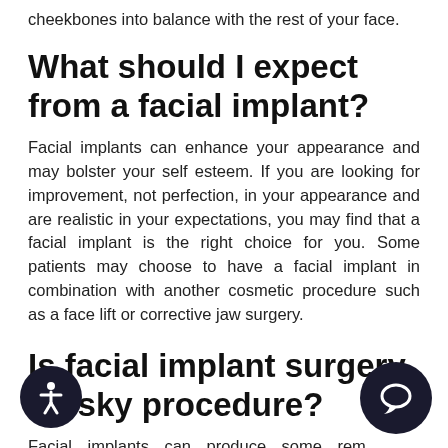cheekbones into balance with the rest of your face.
What should I expect from a facial implant?
Facial implants can enhance your appearance and may bolster your self esteem. If you are looking for improvement, not perfection, in your appearance and are realistic in your expectations, you may find that a facial implant is the right choice for you. Some patients may choose to have a facial implant in combination with another cosmetic procedure such as a face lift or corrective jaw surgery.
Is facial implant surgery a risky procedure?
Facial implants can produce some remarkable changes. Complications rarely occur, but it is important to be informed about such possibilities.